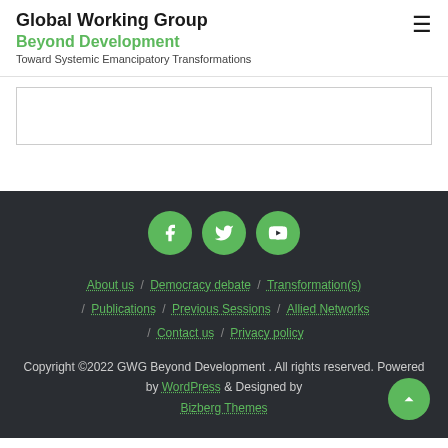Global Working Group Beyond Development Toward Systemic Emancipatory Transformations
[Figure (other): White content area with border (empty/placeholder)]
[Figure (infographic): Three green circular social media icons: Facebook (f), Twitter (bird), YouTube (play button)]
About us / Democracy debate / Transformation(s) / Publications / Previous Sessions / Allied Networks / Contact us / Privacy policy
Copyright ©2022 GWG Beyond Development . All rights reserved. Powered by WordPress & Designed by Bizberg Themes